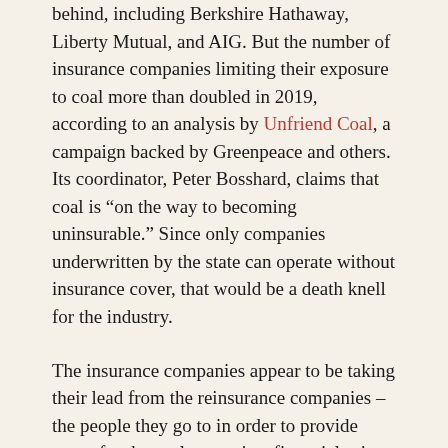behind, including Berkshire Hathaway, Liberty Mutual, and AIG. But the number of insurance companies limiting their exposure to coal more than doubled in 2019, according to an analysis by Unfriend Coal, a campaign backed by Greenpeace and others. Its coordinator, Peter Bosshard, claims that coal is “on the way to becoming uninsurable.” Since only companies underwritten by the state can operate without insurance cover, that would be a death knell for the industry.
The insurance companies appear to be taking their lead from the reinsurance companies – the people they go to in order to provide cover for themselves against financial ruin. The world’s three biggest reinsurers – Swiss Re, Munich Re, and Lloyds of London – have restricted their coal coverage since 2018. Following the example, Axis Capital has t...